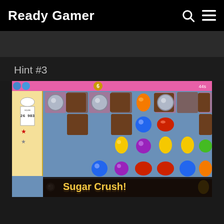Ready Gamer
Hint #3
[Figure (screenshot): Candy Crush game screenshot showing a Sugar Crush moment with candy pieces, chocolate blocks on a blue grid, and the 'Sugar Crush!' text overlay on a dark background with score panel on left showing 26,983.]